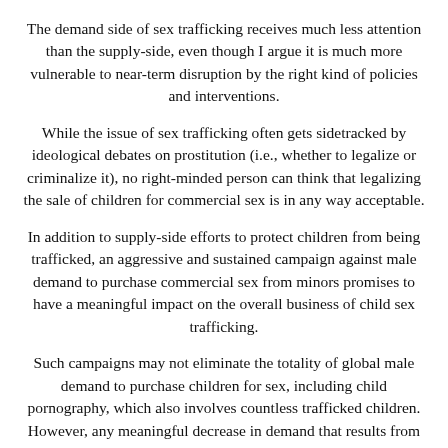The demand side of sex trafficking receives much less attention than the supply-side, even though I argue it is much more vulnerable to near-term disruption by the right kind of policies and interventions.
While the issue of sex trafficking often gets sidetracked by ideological debates on prostitution (i.e., whether to legalize or criminalize it), no right-minded person can think that legalizing the sale of children for commercial sex is in any way acceptable.
In addition to supply-side efforts to protect children from being trafficked, an aggressive and sustained campaign against male demand to purchase commercial sex from minors promises to have a meaningful impact on the overall business of child sex trafficking.
Such campaigns may not eliminate the totality of global male demand to purchase children for sex, including child pornography, which also involves countless trafficked children. However, any meaningful decrease in demand that results from these campaigns will go a long way towards disrupting the overall business of child sex trafficking.
There are also important economic forces of demand that must be attacked, namely the exploiter's demand to generate immense